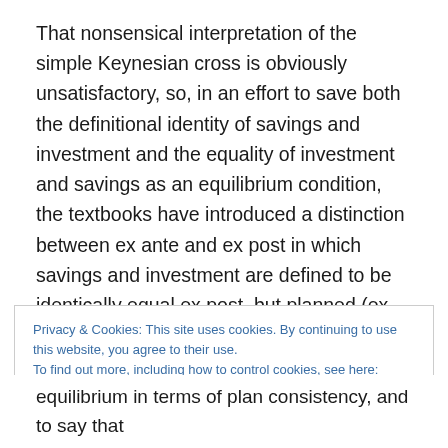That nonsensical interpretation of the simple Keynesian cross is obviously unsatisfactory, so, in an effort to save both the definitional identity of savings and investment and the equality of investment and savings as an equilibrium condition, the textbooks have introduced a distinction between ex ante and ex post in which savings and investment are defined to be identically equal ex post, but planned (ex ante) savings may differ from planned (ex ante) investment, their equality being the condition for equilibrium.
Privacy & Cookies: This site uses cookies. By continuing to use this website, you agree to their use.
To find out more, including how to control cookies, see here: Cookie Policy
equilibrium in terms of plan consistency, and to say that